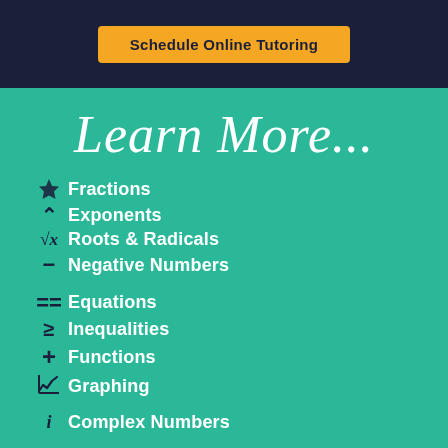[Figure (other): Schedule Online Tutoring button on dark navy background]
Learn More...
Fractions
Exponents
Roots & Radicals
Negative Numbers
Equations
Inequalities
Functions
Graphing
Complex Numbers